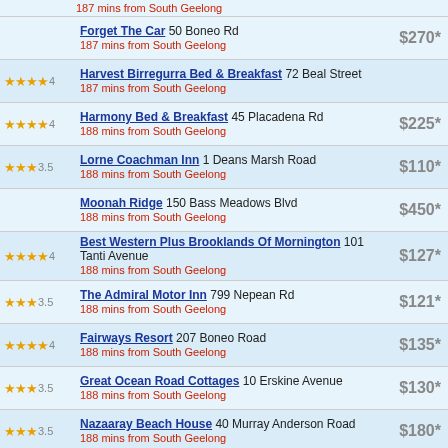187 mins from South Geelong
Forget The Car 50 Boneo Rd | 187 mins from South Geelong | $270*
Harvest Birregurra Bed & Breakfast 72 Beal Street | 187 mins from South Geelong | 4 stars
Harmony Bed & Breakfast 45 Placadena Rd | 188 mins from South Geelong | $225* | 4 stars
Lorne Coachman Inn 1 Deans Marsh Road | 188 mins from South Geelong | $110* | 3.5 stars
Moonah Ridge 150 Bass Meadows Blvd | 188 mins from South Geelong | $450*
Best Western Plus Brooklands Of Mornington 101 Tanti Avenue | 188 mins from South Geelong | $127* | 4 stars
The Admiral Motor Inn 799 Nepean Rd | 188 mins from South Geelong | $121* | 3.5 stars
Fairways Resort 207 Boneo Road | 188 mins from South Geelong | $135* | 4 stars
Great Ocean Road Cottages 10 Erskine Avenue | 188 mins from South Geelong | $130* | 3.5 stars
Nazaaray Beach House 40 Murray Anderson Road | 188 mins from South Geelong | $180* | 3.5 stars
Lorne Foreshore Caravan Park 2 Great Ocean Road | 188 mins from South Geelong | $83* | 3 stars